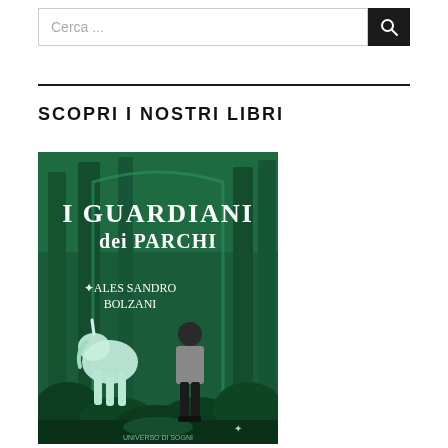Cerca ...
SCOPRI I NOSTRI LIBRI
[Figure (illustration): Book cover of 'I Guardiani dei Parchi' by Alessandro Bolzani. Green forest background with stylized trees, a unicorn figure on the left and a boy standing on the right, with decorative title text.]